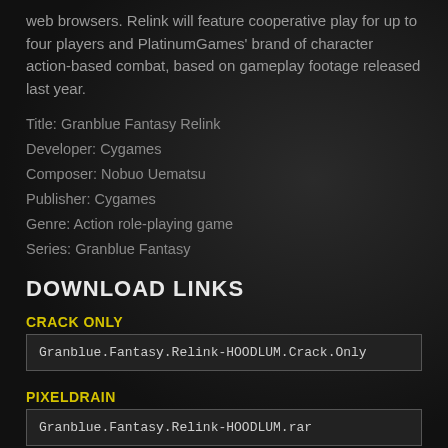web browsers. Relink will feature cooperative play for up to four players and PlatinumGames' brand of character action-based combat, based on gameplay footage released last year.
Title: Granblue Fantasy Relink
Developer: Cygames
Composer: Nobuo Uematsu
Publisher: Cygames
Genre: Action role-playing game
Series: Granblue Fantasy
DOWNLOAD LINKS
CRACK ONLY
Granblue.Fantasy.Relink-HOODLUM.Crack.Only
PIXELDRAIN
Granblue.Fantasy.Relink-HOODLUM.rar
1FICHIER